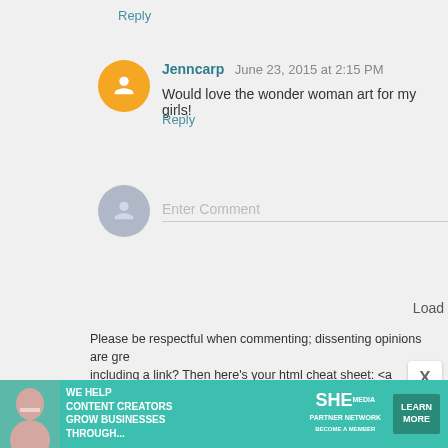Reply
Jenncarp  June 23, 2015 at 2:15 PM
Would love the wonder woman art for my girls!
Reply
Enter Comment
Load
Please be respectful when commenting; dissenting opinions are gre including a link? Then here's your html cheat sheet: <a href="LINK A
Newer Post
H
Subscribe to: Post Comments (Atom)
[Figure (infographic): Advertisement banner for SHE Partner Network - teal background with woman photo, text 'We help content creators grow businesses through...' and 'Learn More' button]